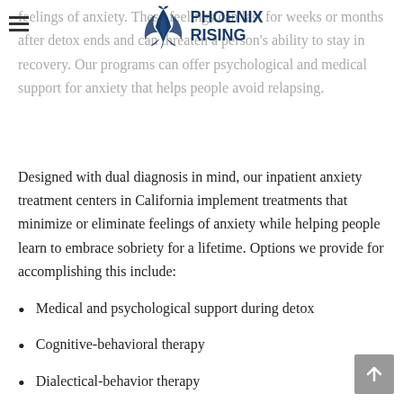[Figure (logo): Phoenix Rising logo with phoenix bird icon and text 'PHOENIX RISING' in dark blue]
feelings of anxiety. These feelings can last for weeks or months after detox ends and can threaten a person's ability to stay in recovery. Our programs can offer psychological and medical support for anxiety that helps people avoid relapsing.
Designed with dual diagnosis in mind, our inpatient anxiety treatment centers in California implement treatments that minimize or eliminate feelings of anxiety while helping people learn to embrace sobriety for a lifetime. Options we provide for accomplishing this include:
Medical and psychological support during detox
Cognitive-behavioral therapy
Dialectical-behavior therapy
Family therapy